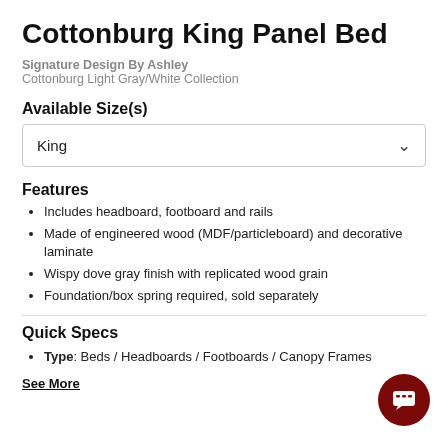Cottonburg King Panel Bed
Signature Design By Ashley
Cottonburg Light Gray/White Collection
Available Size(s)
King
Features
Includes headboard, footboard and rails
Made of engineered wood (MDF/particleboard) and decorative laminate
Wispy dove gray finish with replicated wood grain
Foundation/box spring required, sold separately
Quick Specs
Type: Beds / Headboards / Footboards / Canopy Frames
See More